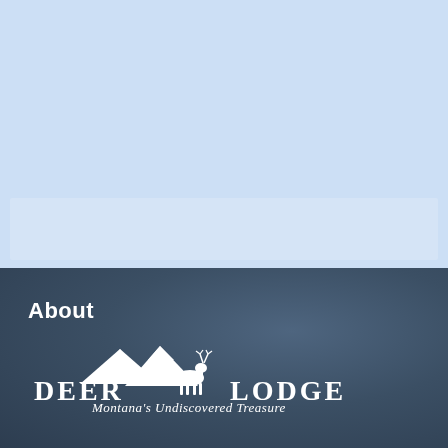[Figure (illustration): Light blue background upper section with a lighter semi-transparent white rectangle box overlay]
About
[Figure (logo): Deer Lodge logo with mountain and deer silhouette in white on dark blue-grey background, text reads DEER LODGE with tagline Montana's Undiscovered Treasure]